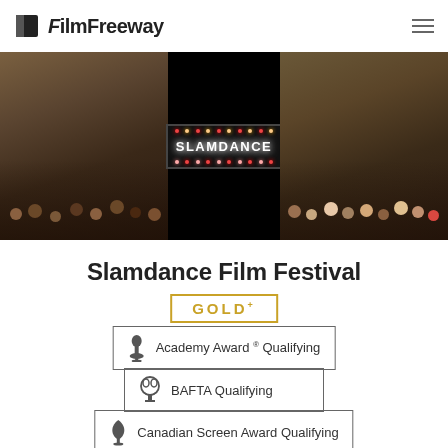FilmFreeway
[Figure (photo): Hero banner showing a crowd of festival attendees with a central Slamdance illuminated sign on black background, flanked by photos of smiling festival-goers]
Slamdance Film Festival
GOLD+
Academy Award® Qualifying
BAFTA Qualifying
Canadian Screen Award Qualifying